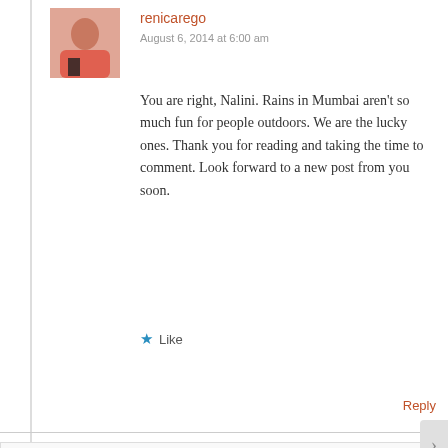[Figure (photo): Profile photo of commenter renicarego — person in pink top, sitting pose, dark background]
renicarego
August 6, 2014 at 6:00 am
You are right, Nalini. Rains in Mumbai aren't so much fun for people outdoors. We are the lucky ones. Thank you for reading and taking the time to comment. Look forward to a new post from you soon.
★ Like
Reply
Privacy & Cookies: This site uses cookies. By continuing to use this website, you agree to their use.
To find out more, including how to control cookies, see here: Cookie Policy
Close and accept